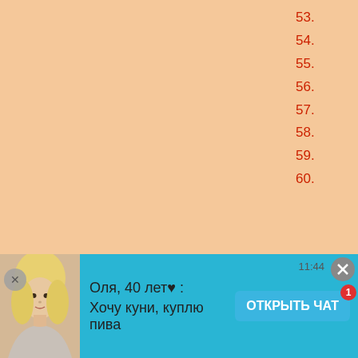53.
54.
55.
56.
57.
58.
59.
60.
[Figure (screenshot): Gray textured background section]
[Figure (screenshot): Advertisement banner with photo of blonde woman, text 'Оля, 40 лет♥ : Хочу куни, куплю пива', time 11:44, and blue 'ОТКРЫТЬ ЧАТ' button with red badge showing 1]